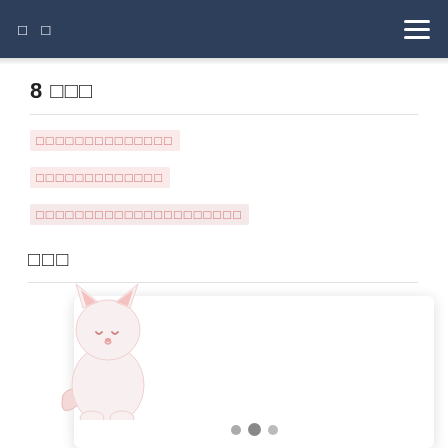□ □
8 □□□
□□□□□□□□□□□□□□
□□□□□□□□□□□□□
□□□□□□□□□□□□□□□□□□□□□
□□□
[Figure (illustration): White cat illustration with pink ears, sitting upright]